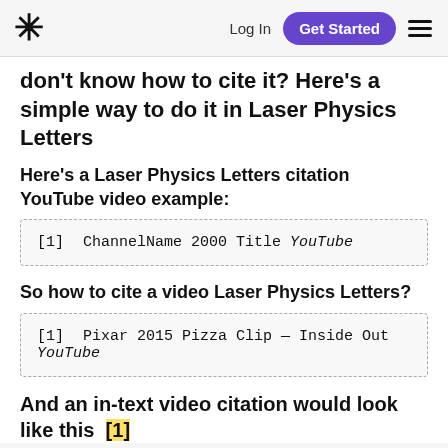* Log In Get Started ☰
don't know how to cite it? Here's a simple way to do it in Laser Physics Letters
Here's a Laser Physics Letters citation YouTube video example:
[1]  ChannelName 2000 Title YouTube
So how to cite a video Laser Physics Letters?
[1]  Pixar 2015 Pizza Clip — Inside Out YouTube
And an in-text video citation would look like this  [1]